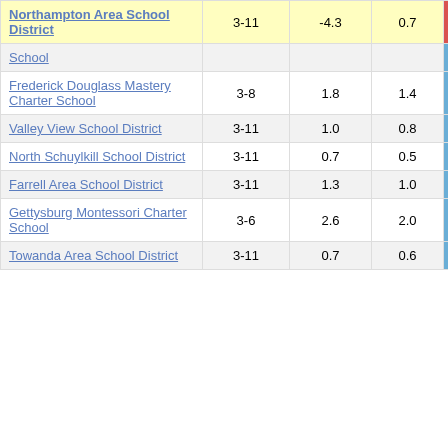| Name | Grades |  |  | Score |
| --- | --- | --- | --- | --- |
| Northampton Area School District | 3-11 | -4.3 | 0.7 | -6.25 |
| School |  |  |  |  |
| Frederick Douglass Mastery Charter School | 3-8 | 1.8 | 1.4 | 1.32 |
| Valley View School District | 3-11 | 1.0 | 0.8 | 1.30 |
| North Schuylkill School District | 3-11 | 0.7 | 0.5 | 1.30 |
| Farrell Area School District | 3-11 | 1.3 | 1.0 | 1.30 |
| Gettysburg Montessori Charter School | 3-6 | 2.6 | 2.0 | 1.29 |
| Towanda Area School District | 3-11 | 0.7 | 0.6 | 1.26 |